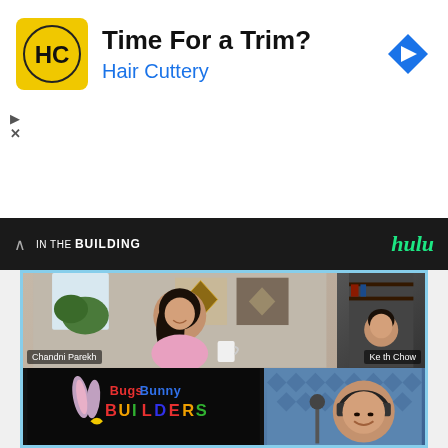[Figure (screenshot): Advertisement banner for Hair Cuttery with yellow HC logo, text 'Time For a Trim?' and 'Hair Cuttery' in blue, blue navigation arrow icon on right, ad play and close controls on left]
[Figure (screenshot): Dark Hulu streaming bar with 'IN THE BUILDING' text and Hulu logo in green italic]
[Figure (screenshot): Video interview screenshot showing Chandni Parekh in pink shirt smiling with long dark hair, Keith Chow in small panel top right, and lower half showing Bugs Bunny Builders logo with a man wearing headphones on right side]